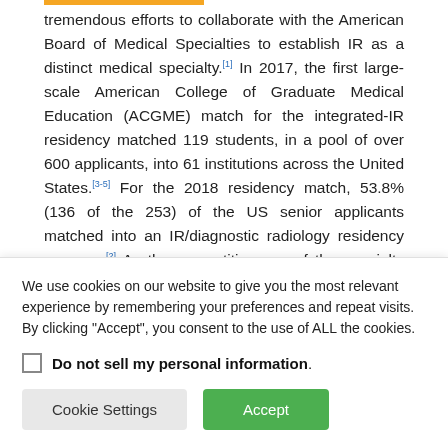tremendous efforts to collaborate with the American Board of Medical Specialties to establish IR as a distinct medical specialty.[1] In 2017, the first large-scale American College of Graduate Medical Education (ACGME) match for the integrated-IR residency matched 119 students, in a pool of over 600 applicants, into 61 institutions across the United States.[3-5] For the 2018 residency match, 53.8% (136 of the 253) of the US senior applicants matched into an IR/diagnostic radiology residency program.[2] As the competitiveness of the specialty continues to increase, there has been a large rush from both parties, the applicants and program
We use cookies on our website to give you the most relevant experience by remembering your preferences and repeat visits. By clicking "Accept", you consent to the use of ALL the cookies.
Do not sell my personal information.
Cookie Settings | Accept